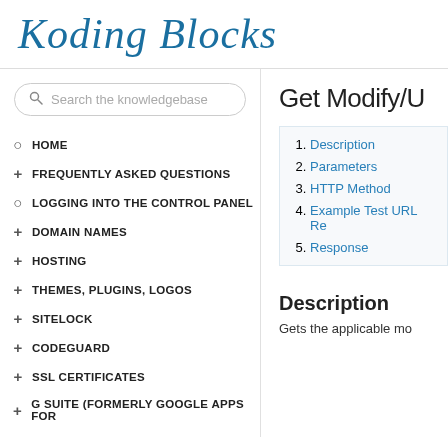Koding Blocks
HOME
FREQUENTLY ASKED QUESTIONS
LOGGING INTO THE CONTROL PANEL
DOMAIN NAMES
HOSTING
THEMES, PLUGINS, LOGOS
SITELOCK
CODEGUARD
SSL CERTIFICATES
G SUITE (FORMERLY GOOGLE APPS FOR
Get Modify/U
1. Description
2. Parameters
3. HTTP Method
4. Example Test URL Re
5. Response
Description
Gets the applicable mo